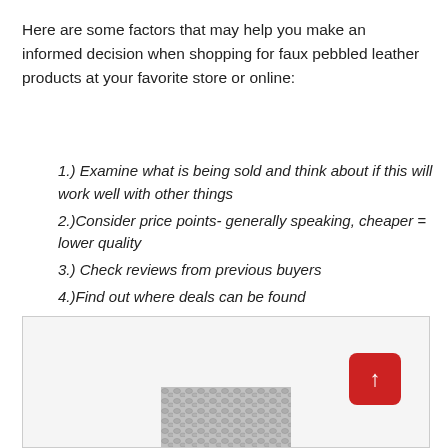Here are some factors that may help you make an informed decision when shopping for faux pebbled leather products at your favorite store or online:
1.) Examine what is being sold and think about if this will work well with other things
2.)Consider price points- generally speaking, cheaper = lower quality
3.) Check reviews from previous buyers
4.)Find out where deals can be found
5.) Investigate whether there's a return policy first
[Figure (photo): A grey pebbled leather texture photograph shown at the bottom of the page, with a red scroll-to-top button in the lower right corner]